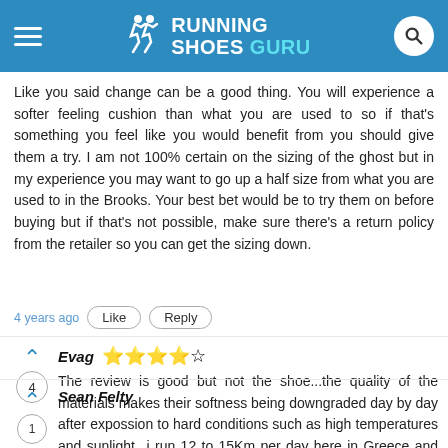RUNNING SHOES GURU
Like you said change can be a good thing. You will experience a softer feeling cushion than what you are used to so if that's something you feel like you would benefit from you should give them a try. I am not 100% certain on the sizing of the ghost but in my experience you may want to go up a half size from what you are used to in the Brooks. Your best bet would be to try them on before buying but if that's not possible, make sure there's a return policy from the retailer so you can get the sizing down.
4 years ago  Like  Reply
Evag ★★★★☆
The review is good but not the shoe...the quality of the materials makes their softness being downgraded day by day after expossion to hard conditions such as high temperatures and sunlight...i run 12 to 15Km per day here in Greece and after using clifton 4 and 5 one month the difference considering the initial softness was huge
4 years ago  Like  Reply
Sean Felty